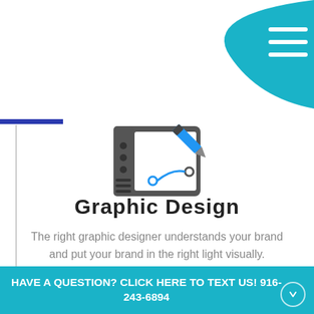[Figure (illustration): Teal curved blob shape in top-right corner with hamburger menu icon (three white horizontal lines)]
[Figure (illustration): Graphic design tablet icon with a blue pen/pencil and a vector path curve on a white screen, dark gray border with left panel controls]
Graphic Design
The right graphic designer understands your brand and put your brand in the right light visually.
Learn More
HAVE A QUESTION? CLICK HERE TO TEXT US! 916-243-6894